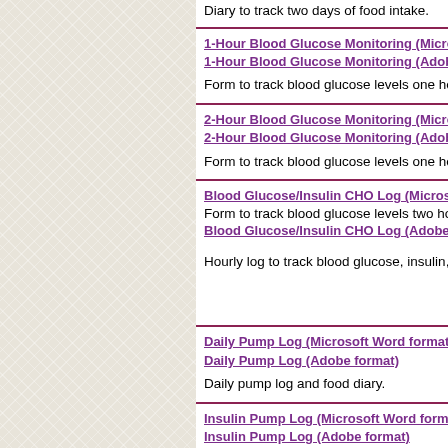Diary to track two days of food intake.
1-Hour Blood Glucose Monitoring (Microsoft Word format)
1-Hour Blood Glucose Monitoring (Adobe format)
Form to track blood glucose levels one hour
2-Hour Blood Glucose Monitoring (Microsoft Word format)
2-Hour Blood Glucose Monitoring (Adobe format)
Form to track blood glucose levels one hour
Blood Glucose/Insulin CHO Log (Microsoft Word format)
Blood Glucose/Insulin CHO Log (Adobe format)
Form to track blood glucose levels two hours
Hourly log to track blood glucose, insulin, and
Daily Pump Log (Microsoft Word format)
Daily Pump Log (Adobe format)
Daily pump log and food diary.
Insulin Pump Log (Microsoft Word format)
Insulin Pump Log (Adobe format)
Hourly pump log.
Medical Release Form (Microsoft Word format)